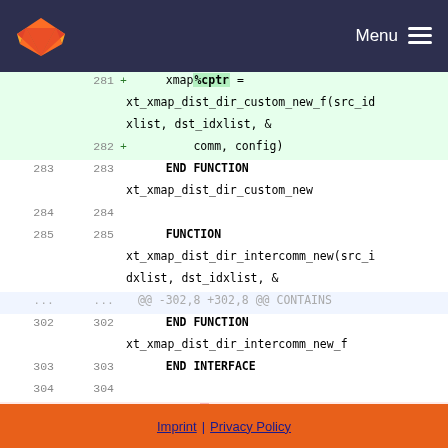GitLab logo | Menu
[Figure (screenshot): Code diff view showing Fortran source file changes, lines 281-306, with added lines (green) and removed lines (red). Added lines show xmap%cptr assignment and comm config. Removed lines show xmap assignment to xt_xmap_c2f function.]
Imprint | Privacy Policy